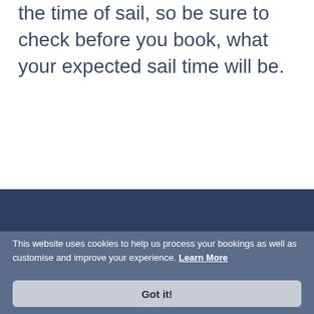the time of sail, so be sure to check before you book, what your expected sail time will be.
This website uses cookies to help us process your bookings as well as customise and improve your experience. Learn More
Got it!